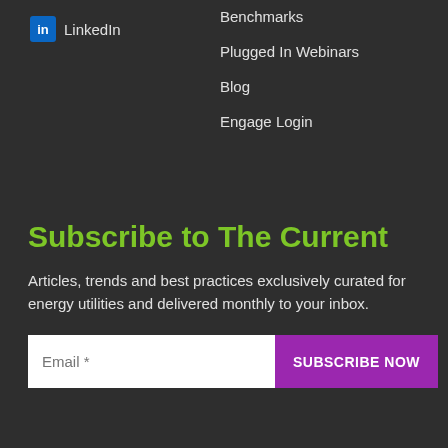in LinkedIn
Benchmarks
Plugged In Webinars
Blog
Engage Login
Subscribe to The Current
Articles, trends and best practices exclusively curated for energy utilities and delivered monthly to your inbox.
Email *
SUBSCRIBE NOW